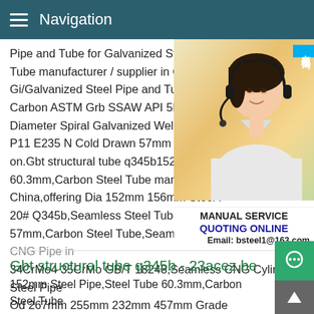Navigation
Pipe and Tube for Galvanized Steel Tube, Tube manufacturer / supplier in China,offe Gi/Galvanized Steel Pipe and Tube for Sa Carbon ASTM Grb SSAW API 5L X42 X46 Diameter Spiral Galvanized Welded Roun P11 E235 N Cold Drawn 57mm Seamless on.Gbt structural tube q345b152mm Steel 60.3mm,Carbon Steel Tube manufacturer China,offering Dia 152mm 156mm Steel P 20# Q345b,Seamless Steel Tube Od 60.3 57mm,Carbon Steel Tube,Seamless Steel Cylinder or CNG Pipe in 34CrMo4 35CrMo GB/T 18248,Seamless CNG Cylinder Steel Pipe Od 267mm 255mm 232mm 457mm Grade
[Figure (photo): Customer service representative woman wearing headset, with Chinese text badge '在线咨询' (Online Consultation) in blue, and service info overlay showing MANUAL SERVICE, QUOTING ONLINE, Email: bsteel1@163.com]
Gbt structural tube q345b - 23acez.be
152mm Steel Pipe,Steel Tube 60.3mm,Carbon Steel Tube